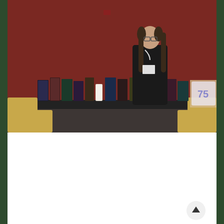[Figure (photo): A person with long hair and glasses standing behind a table covered with a black tablecloth displaying many books, in a room with a dark red/maroon wall. Two gold/yellow upholstered chairs are visible on either side.]
So at Dragon Con I had a reading this year.
[Figure (photo): Close-up of a book cover or sign reading 'Jagged Two Stories Fragments by Anthony Francis']